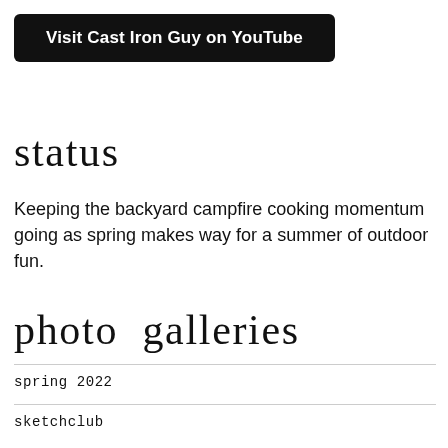[Figure (other): Black button reading 'Visit Cast Iron Guy on YouTube']
status
Keeping the backyard campfire cooking momentum going as spring makes way for a summer of outdoor fun.
photo galleries
spring 2022
sketchclub